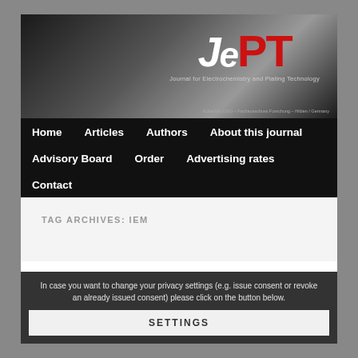[Figure (logo): JEPT Journal for Electrochemistry and Plating Technology logo on dark banner background. Large stylized letters 'JePT' with J and e in white italic, P and T in red. Subtitle: 'Journal for Electrochemistry and Plating Technology'. Edited by DGO – Fachausschuss Forschung – Hilden / Germany.]
Home
Articles
Authors
About this journal
Advisory Board
Order
Advertising rates
Contact
TAG ARCHIVES: IEM
In case you want to change your privacy settings (e.g. issue consent or revoke an already issued consent) please click on the button below.
SETTINGS